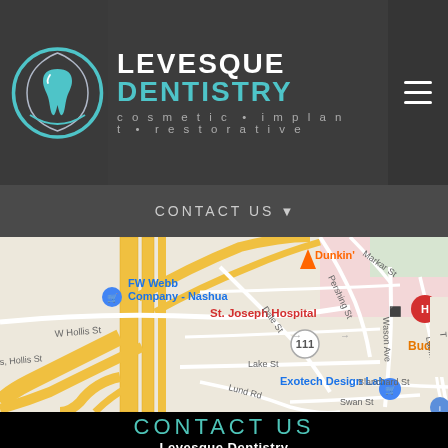[Figure (logo): Levesque Dentistry logo with teal tooth icon in circular design, text reads LEVESQUE DENTISTRY, cosmetic · implant · restorative]
[Figure (screenshot): Navigation bar with CONTACT US text and dropdown arrow on dark background]
[Figure (map): Google Maps screenshot showing Nashua NH area with streets: W Hollis St, Dale St, Lake St, Lund Rd, Swan St, Pershing St, Markar St, Wason Ave, Monroe St, Blanchard St, Labine St. Landmarks: FW Webb Company Nashua, St. Joseph Hospital (H marker), Bud's restaurant, Exotech Design Lab, Dunkin, road 111 visible.]
CONTACT US
Levesque Dentistry